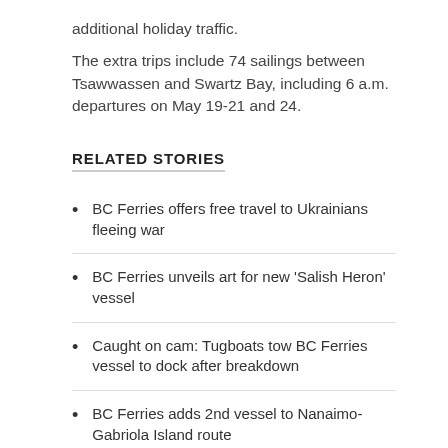additional holiday traffic.
The extra trips include 74 sailings between Tsawwassen and Swartz Bay, including 6 a.m. departures on May 19-21 and 24.
RELATED STORIES
BC Ferries offers free travel to Ukrainians fleeing war
BC Ferries unveils art for new 'Salish Heron' vessel
Caught on cam: Tugboats tow BC Ferries vessel to dock after breakdown
BC Ferries adds 2nd vessel to Nanaimo-Gabriola Island route